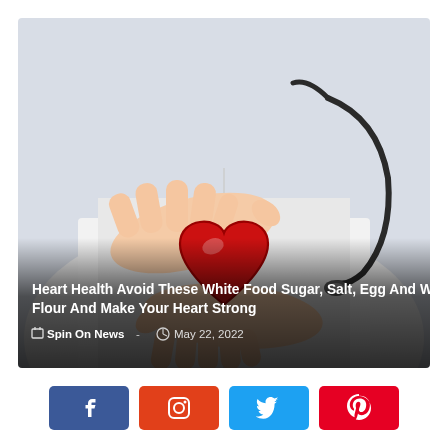[Figure (photo): A doctor in a white coat holding a red heart model between cupped hands, with a stethoscope visible around the neck. The image has a light, airy background.]
Heart Health Avoid These White Food Sugar, Salt, Egg And White Flour And Make Your Heart Strong
Spin On News  -  May 22, 2022